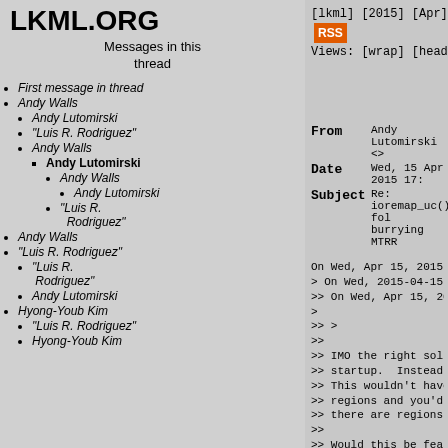LKML.ORG
Messages in this thread
First message in thread
Andy Walls
Andy Lutomirski
"Luis R. Rodriguez"
Andy Walls
Andy Lutomirski (bold/current)
Andy Walls
Andy Lutomirski
"Luis R. Rodriguez"
Andy Walls
"Luis R. Rodriguez"
"Luis R. Rodriguez"
Andy Lutomirski
Hyong-Youb Kim
"Luis R. Rodriguez"
Hyong-Youb Kim
[lkml] [2015] [Apr] [15] [last100] RSS Views: [wrap] [headers] [forward]
From   Andy Lutomirski <>
Date   Wed, 15 Apr 2015 17:
Subject   Re: ioremap_uc() fol burrying MTRR
On Wed, Apr 15, 2015 at 4:59 PM, And
> On Wed, 2015-04-15 at 16:42 -0700,
>> On Wed, Apr 15, 2015 at 3:38 PM,
>
>> >
>>
>> IMO the right solution would be t
>> startup.  Instead ioremap pieces
>> This wouldn't have any of these p
>> regions and you'd ioremap_wc() th
>> there are regions of unknown purp
>>
>> Would this be feasible?